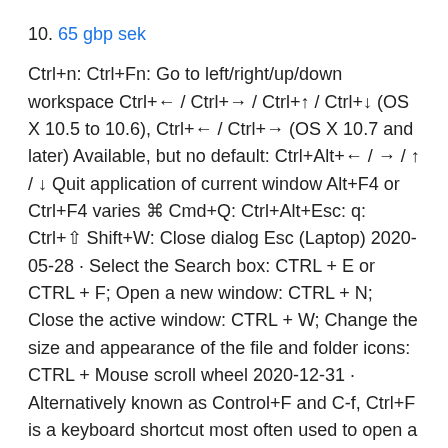10. 65 gbp sek
Ctrl+n: Ctrl+Fn: Go to left/right/up/down workspace Ctrl+← / Ctrl+→ / Ctrl+↑ / Ctrl+↓ (OS X 10.5 to 10.6), Ctrl+← / Ctrl+→ (OS X 10.7 and later) Available, but no default: Ctrl+Alt+← / → / ↑ / ↓ Quit application of current window Alt+F4 or Ctrl+F4 varies ⌘ Cmd+Q: Ctrl+Alt+Esc: q: Ctrl+⇧ Shift+W: Close dialog Esc (Laptop) 2020-05-28 · Select the Search box: CTRL + E or CTRL + F; Open a new window: CTRL + N; Close the active window: CTRL + W; Change the size and appearance of the file and folder icons: CTRL + Mouse scroll wheel 2020-12-31 · Alternatively known as Control+F and C-f, Ctrl+F is a keyboard shortcut most often used to open a find box to locate a specific character, word, or phrase in a document or web page. Prova